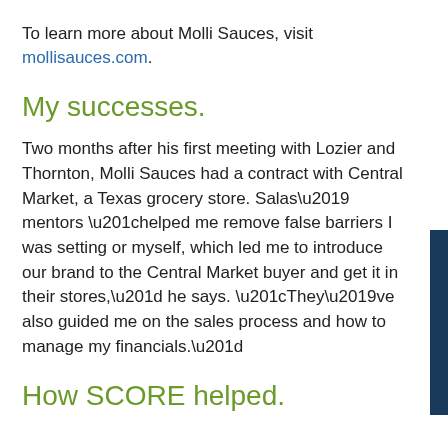To learn more about Molli Sauces, visit mollisauces.com.
My successes.
Two months after his first meeting with Lozier and Thornton, Molli Sauces had a contract with Central Market, a Texas grocery store. Salas’ mentors “helped me remove false barriers I was setting or myself, which led me to introduce our brand to the Central Market buyer and get it in their stores,” he says. “They’ve also guided me on the sales process and how to manage my financials.”
How SCORE helped.